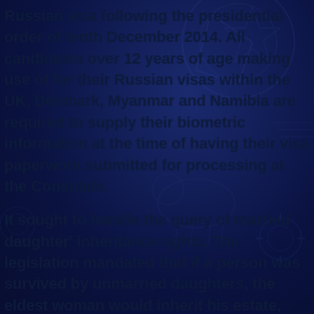Russian visa following the presidential order of tenth December 2014. All candidates over 12 years of age making use of for their Russian visas within the UK, Denmark, Myanmar and Namibia are required to supply their biometric information at the time of having their visa paperwork submitted for processing at the Consulate.
It sought to handle the query of married daughter' inheritance rights. The legislation mandated that if a person was survived by unmarried daughters, the eldest woman would inherit his estate, whereas the remaining sisters would divide his movable property. His married daughters would obtain nothing, however, since they'd have received dowries on the time they married. Famous ladies in Russian history embrace